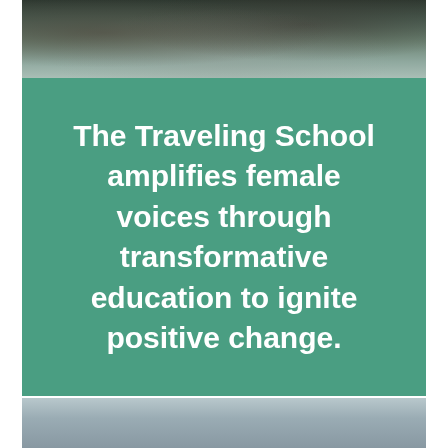[Figure (photo): Aerial or water reflection nature photograph cropped at the top — dark green and grey tones suggesting trees or landscape reflected in water]
The Traveling School amplifies female voices through transformative education to ignite positive change.
[Figure (photo): Partial photograph at the bottom of the page — muted blue-grey tones, cropped, appears to be a landscape or water scene]